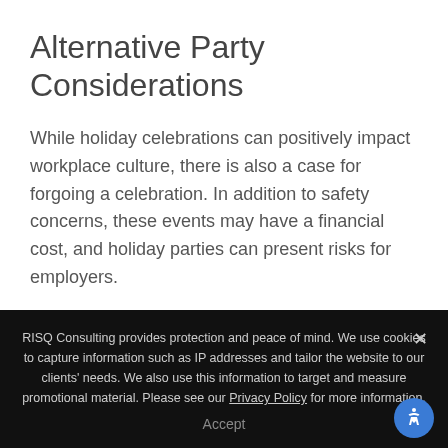Alternative Party Considerations
While holiday celebrations can positively impact workplace culture, there is also a case for forgoing a celebration. In addition to safety concerns, these events may have a financial cost, and holiday parties can present risks for employers.
Generally, holiday parties carry a cost, and diverting funds to throwing a celebration may not be an
RISQ Consulting provides protection and peace of mind. We use cookies to capture information such as IP addresses and tailor the website to our clients' needs. We also use this information to target and measure promotional material. Please see our Privacy Policy for more information.
Accept